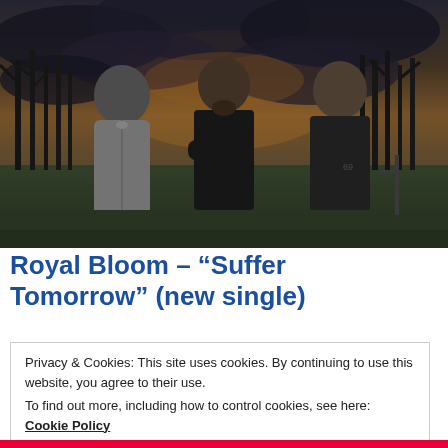[Figure (photo): Three young men standing outdoors in front of trees with a dramatic cloudy sky. Left man wears grey hoodie, center man in black leather jacket with arms crossed, right man in dark jacket. Photo has moody, dusk lighting.]
Royal Bloom – "Suffer Tomorrow" (new single)
Privacy & Cookies: This site uses cookies. By continuing to use this website, you agree to their use.
To find out more, including how to control cookies, see here: Cookie Policy